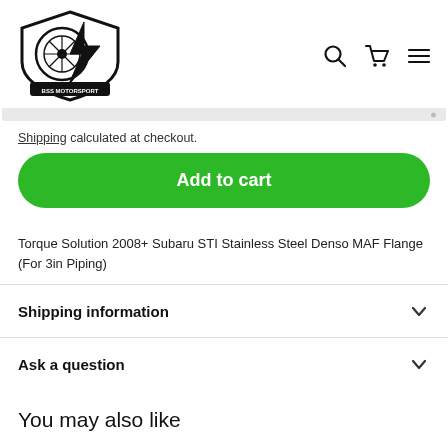[Figure (logo): BSS Motorsport shield logo with tire and lightning bolt]
Shipping calculated at checkout.
Add to cart
Torque Solution 2008+ Subaru STI Stainless Steel Denso MAF Flange (For 3in Piping)
Shipping information
Ask a question
You may also like